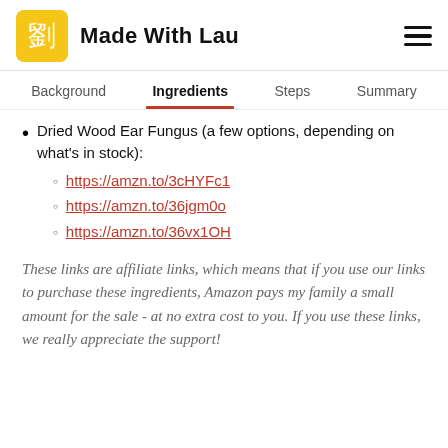Made With Lau
Ingredients
Dried Wood Ear Fungus (a few options, depending on what's in stock): https://amzn.to/3cHYFc1, https://amzn.to/36jgm0o, https://amzn.to/36vx1OH
These links are affiliate links, which means that if you use our links to purchase these ingredients, Amazon pays my family a small amount for the sale - at no extra cost to you. If you use these links, we really appreciate the support!